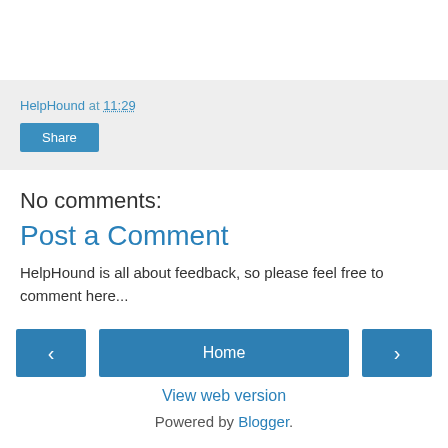HelpHound at 11:29
Share
No comments:
Post a Comment
HelpHound is all about feedback, so please feel free to comment here...
‹
Home
›
View web version
Powered by Blogger.